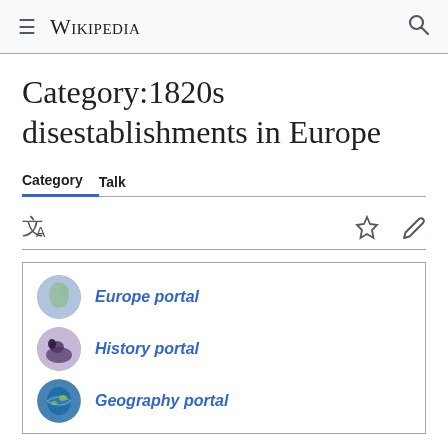Wikipedia
Category:1820s disestablishments in Europe
Category  Talk
[Figure (infographic): Portal box with three rows: Europe portal, History portal, Geography portal, each with a circular icon]
Organizations, places or other things that ended or were disestablished in the 1820s in Europe